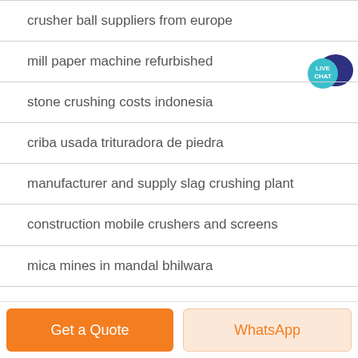crusher ball suppliers from europe
mill paper machine refurbished
stone crushing costs indonesia
criba usada trituradora de piedra
manufacturer and supply slag crushing plant
construction mobile crushers and screens
mica mines in mandal bhilwara
youtubeskylandersgiants crusher vs hot head
Get a Quote
WhatsApp